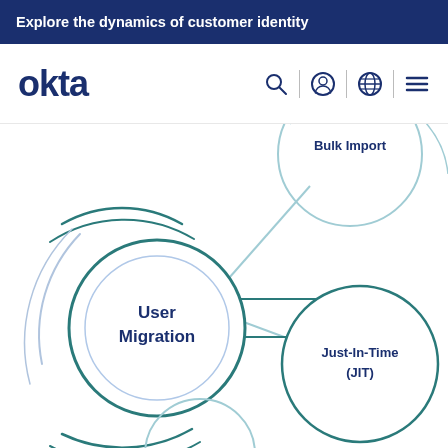Explore the dynamics of customer identity
[Figure (logo): Okta logo and navigation bar with search, user, globe, and menu icons]
[Figure (infographic): Mind-map style diagram showing User Migration as central node connected to Bulk Import (top right circle) and Just-In-Time (JIT) (right circle), with additional circles partially visible. Concentric arc decorations around User Migration circle. Lines connect the nodes.]